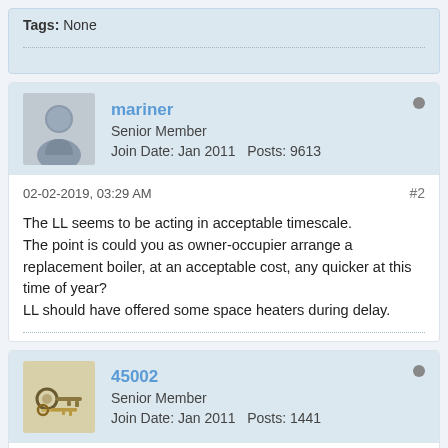Tags: None
mariner
Senior Member
Join Date: Jan 2011   Posts: 9613
02-02-2019, 03:29 AM
#2
The LL seems to be acting in acceptable timescale.
The point is could you as owner-occupier arrange a replacement boiler, at an acceptable cost, any quicker at this time of year?
LL should have offered some space heaters during delay.
45002
Senior Member
Join Date: Jan 2011   Posts: 1441
02-02-2019, 09:54 AM
#3